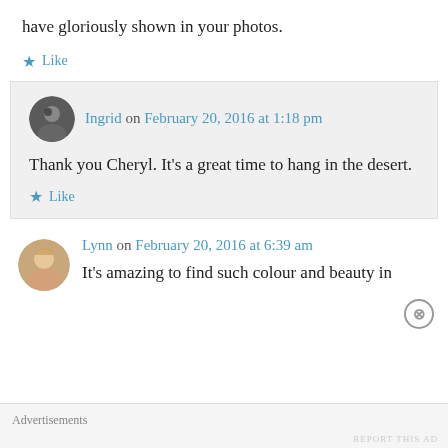have gloriously shown in your photos.
Like
Ingrid on February 20, 2016 at 1:18 pm
Thank you Cheryl. It’s a great time to hang in the desert.
Like
[Figure (photo): Circular avatar photo of Ingrid, dark toned]
[Figure (photo): Circular avatar photo of Lynn, light hair woman]
Lynn on February 20, 2016 at 6:39 am
It’s amazing to find such colour and beauty in
Advertisements